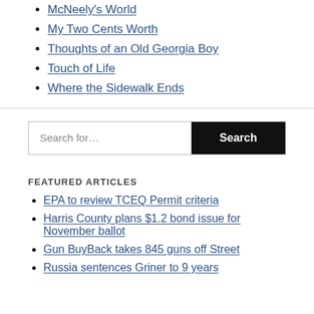McNeely's World
My Two Cents Worth
Thoughts of an Old Georgia Boy
Touch of Life
Where the Sidewalk Ends
FEATURED ARTICLES
EPA to review TCEQ Permit criteria
Harris County plans $1.2 bond issue for November ballot
Gun BuyBack takes 845 guns off Street
Russia sentences Griner to 9 years